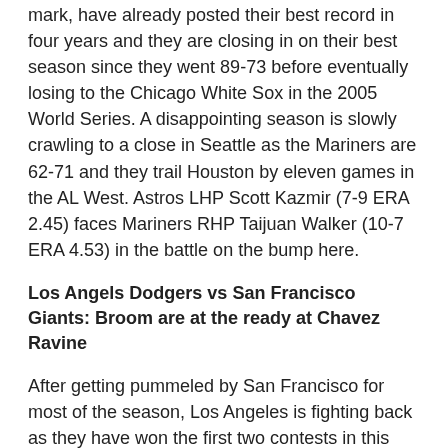mark, have already posted their best record in four years and they are closing in on their best season since they went 89-73 before eventually losing to the Chicago White Sox in the 2005 World Series. A disappointing season is slowly crawling to a close in Seattle as the Mariners are 62-71 and they trail Houston by eleven games in the AL West. Astros LHP Scott Kazmir (7-9 ERA 2.45) faces Mariners RHP Taijuan Walker (10-7 ERA 4.53) in the battle on the bump here.
Los Angels Dodgers vs San Francisco Giants: Broom are at the ready at Chavez Ravine
After getting pummeled by San Francisco for most of the season, Los Angeles is fighting back as they have won the first two contests in this three-game series. Prior to this set, the Dodgers were 3-9 versus the Giants this season – a primary reason why San Francisco isn't further back than the 5.5 game deficit they currently face in the NL West. The Dodgers won a 5-4 thriller in the 14 innings on Monday and Zack Greinke out-dueled Madison Bumgarner in a 2-1